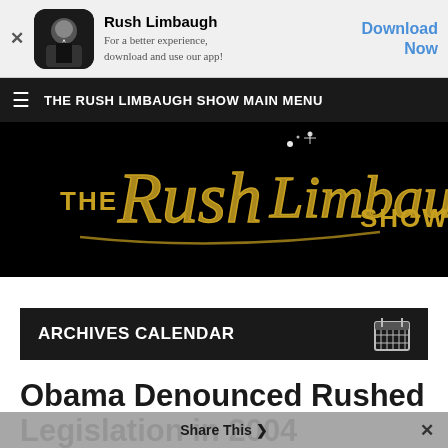[Figure (screenshot): App banner with Rush Limbaugh app icon (man in dark suit), app name 'Rush Limbaugh', description 'For a better experience, download and use our app!', and blue 'Download Now' button on right. X close button on left.]
THE RUSH LIMBAUGH SHOW MAIN MENU
[Figure (logo): The Rush Limbaugh Show logo — gold cursive signature-style text on black background reading 'THE Rush Limbaugh SHOW']
ARCHIVES CALENDAR
Obama Denounced Rushed Legislation in 2004
Share This